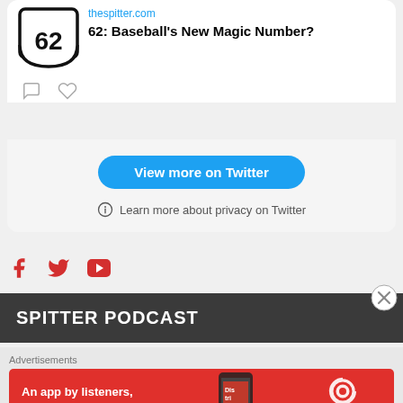[Figure (screenshot): Twitter embedded card showing thespitter.com link with shield logo containing '62' and title '62: Baseball's New Magic Number?']
thespitter.com
62: Baseball's New Magic Number?
View more on Twitter
Learn more about privacy on Twitter
[Figure (logo): Social media icons: Facebook (red), Twitter (red/blue), YouTube (red)]
SPITTER PODCAST
Advertisements
[Figure (infographic): Pocket Casts advertisement banner: 'An app by listeners, for listeners.' with phone image and Pocket Casts logo on red background]